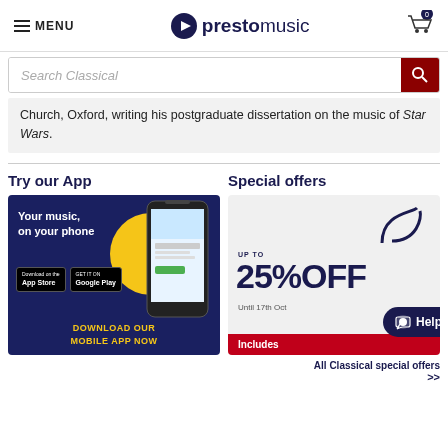MENU | prestomusic | Cart: 0
Search Classical
Church, Oxford, writing his postgraduate dissertation on the music of Star Wars.
Try our App
[Figure (other): Presto Music mobile app promotional banner with dark navy background, yellow circle, phone mockup, text 'Your music, on your phone', App Store and Google Play badges, and 'DOWNLOAD OUR MOBILE APP NOW' in yellow text]
Special offers
[Figure (other): LSO special offers promotional banner showing LSO logo, 'UP TO 25% OFF Until 17th Oct', red 'Includes' bar at bottom, and a Help chat bubble button overlay]
All Classical special offers >>